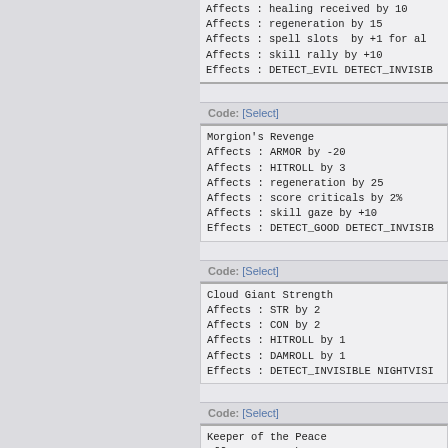Affects : healing received by 10
Affects : regeneration by 15
Affects : spell slots  by +1 for al
Affects : skill rally by +10
Effects : DETECT_EVIL DETECT_INVISIB
Code: [Select]
Morgion's Revenge
Affects : ARMOR by -20
Affects : HITROLL by 3
Affects : regeneration by 25
Affects : score criticals by 2%
Affects : skill gaze by +10
Effects : DETECT_GOOD DETECT_INVISIB
Code: [Select]
Cloud Giant Strength
Affects : STR by 2
Affects : CON by 2
Affects : HITROLL by 1
Affects : DAMROLL by 1
Effects : DETECT_INVISIBLE NIGHTVISI
Code: [Select]
Keeper of the Peace
Affects : STR by 2
Affects : DEX by 2